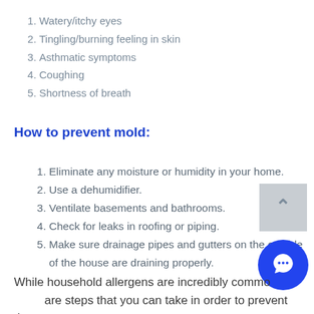1. Watery/itchy eyes
2. Tingling/burning feeling in skin
3. Asthmatic symptoms
4. Coughing
5. Shortness of breath
How to prevent mold:
1. Eliminate any moisture or humidity in your home.
2. Use a dehumidifier.
3. Ventilate basements and bathrooms.
4. Check for leaks in roofing or piping.
5. Make sure drainage pipes and gutters on the outside of the house are draining properly.
While household allergens are incredibly common, there are steps that you can take in order to prevent them.